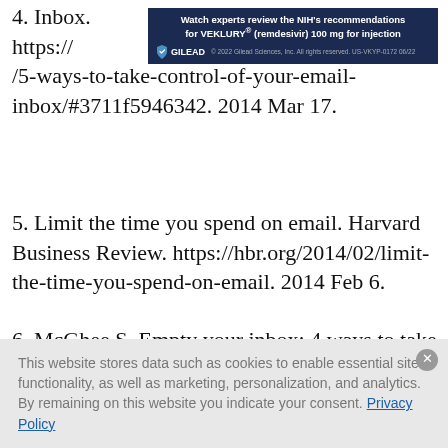4. Inbox. https://...03/17/5-ways-to-take-control-of-your-email-inbox/#3711f5946342. 2014 Mar 17.
[Figure (other): Gilead advertisement banner: 'Watch experts review the NIH's recommendations for VEKLURY® (remdesivir) 100 mg for injection' with Gilead logo and copyright 2022 Gilead Sciences, Inc. All rights reserved. US-VKYP-0172 06/22]
5. Limit the time you spend on email. Harvard Business Review. https://hbr.org/2014/02/limit-the-time-you-spend-on-email. 2014 Feb 6.
6. McGhee S. Empty your inbox: 4 ways to take control of your email. Internet and Telephone Blog. https://www.itllc.net/it-support-ma/empty-your-inbox-4-ways-to-take-control-of-your-email/.
This website stores data such as cookies to enable essential site functionality, as well as marketing, personalization, and analytics. By remaining on this website you indicate your consent. Privacy Policy